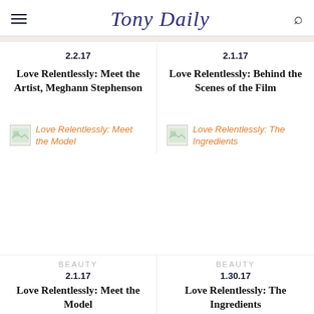Tony Daily
2.2.17
Love Relentlessly: Meet the Artist, Meghann Stephenson
2.1.17
Love Relentlessly: Behind the Scenes of the Film
Love Relentlessly: Meet the Model
Love Relentlessly: The Ingredients
BEAUTY
2.1.17
Love Relentlessly: Meet the Model
BEAUTY
1.30.17
Love Relentlessly: The Ingredients